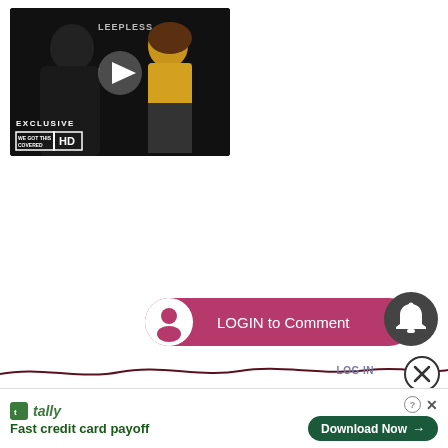[Figure (screenshot): Video thumbnail showing two people in an interview setting with 'LEEPLESS' text, a play button, 'EXCLUSIVE' label, and 'WE GOT THIS COVERED HD' badge on a dark background]
[Figure (screenshot): Pink 'LOGIN to Comment' button with user icon on left, positioned center-left]
[Figure (screenshot): Dark grey circular bell/notification button on the right]
LOG IN
[Figure (screenshot): Close X button in circle]
[Figure (screenshot): Tally app advertisement banner with 'Fast credit card payoff' tagline and 'Download Now' green button]